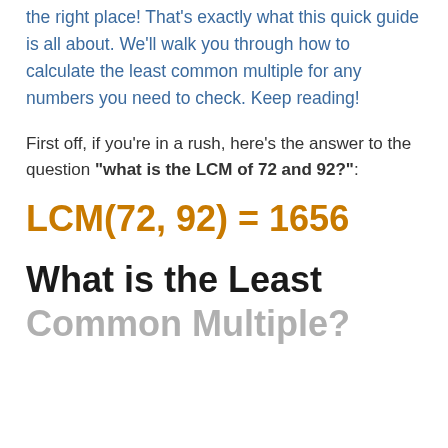the right place! That's exactly what this quick guide is all about. We'll walk you through how to calculate the least common multiple for any numbers you need to check. Keep reading!
First off, if you're in a rush, here's the answer to the question "what is the LCM of 72 and 92?":
What is the Least Common Multiple?